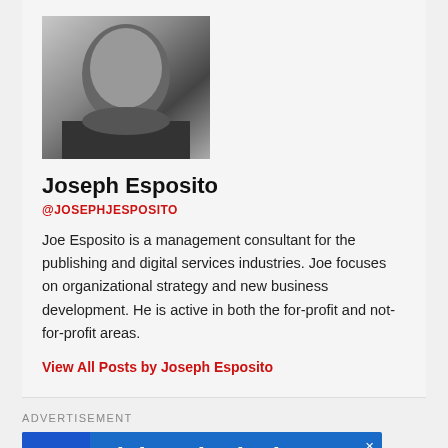[Figure (photo): Black and white headshot photo of Joseph Esposito, a middle-aged man]
Joseph Esposito
@JOSEPHJESPOSITO
Joe Esposito is a management consultant for the publishing and digital services industries. Joe focuses on organizational strategy and new business development. He is active in both the for-profit and not-for-profit areas.
View All Posts by Joseph Esposito
ADVERTISEMENT
[Figure (screenshot): Advertisement banner with blue background showing shield icon, text 'article submission' and open access logo]